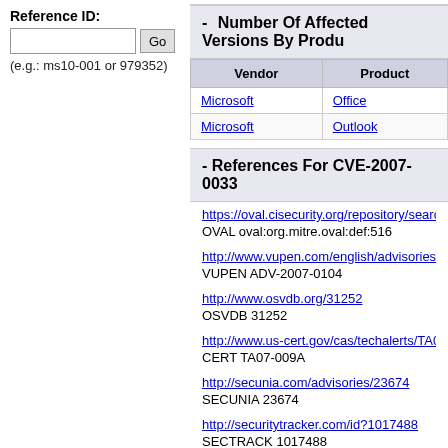Reference ID:
(e.g.: ms10-001 or 979352)
- Number Of Affected Versions By Product
| Vendor | Product |
| --- | --- |
| Microsoft | Office |
| Microsoft | Outlook |
- References For CVE-2007-0033
https://oval.cisecurity.org/repository/search/definition/ova...
OVAL oval:org.mitre.oval:def:516
http://www.vupen.com/english/advisories/2007/0104
VUPEN ADV-2007-0104
http://www.osvdb.org/31252
OSVDB 31252
http://www.us-cert.gov/cas/techalerts/TA07-009A.html
CERT TA07-009A
http://secunia.com/advisories/23674
SECUNIA 23674
http://securitytracker.com/id?1017488
SECTRACK 1017488
http://www.securityfocus.com/bid/21931
BID 21931 Microsoft Outlook VEVENT Record Remote C...